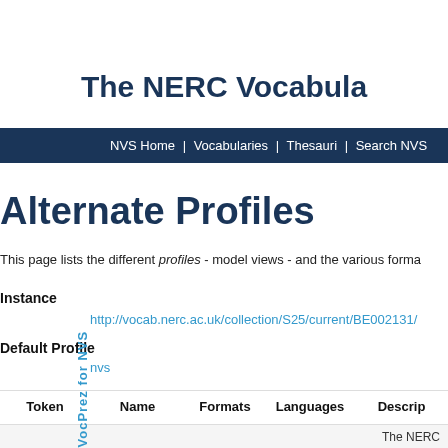The NERC Vocabula
NVS Home | Vocabularies | Thesauri | Search NVS
Alternate Profiles
This page lists the different profiles - model views - and the various forma
Instance
http://vocab.nerc.ac.uk/collection/S25/current/BE002131/
Default Profile
nvs
| Token | Name | Formats | Languages | Descrip |
| --- | --- | --- | --- | --- |
The NERC